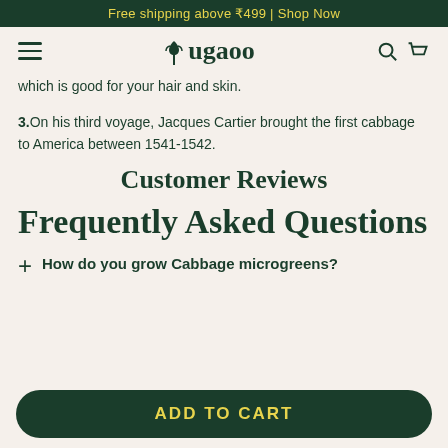Free shipping above ₹499 | Shop Now
[Figure (logo): Ugaoo brand logo with plant icon, hamburger menu, search and cart icons]
which is good for your hair and skin.
3. On his third voyage, Jacques Cartier brought the first cabbage to America between 1541-1542.
Customer Reviews
Frequently Asked Questions
+ How do you grow Cabbage microgreens?
ADD TO CART